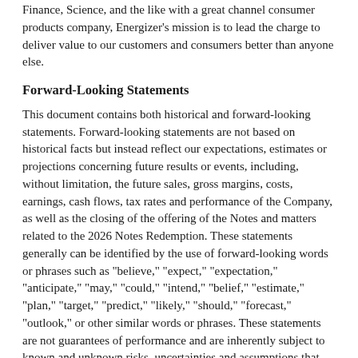Finance, Science, and the like with a great channel consumer products company, Energizer's mission is to lead the charge to deliver value to our customers and consumers better than anyone else.
Forward-Looking Statements
This document contains both historical and forward-looking statements. Forward-looking statements are not based on historical facts but instead reflect our expectations, estimates or projections concerning future results or events, including, without limitation, the future sales, gross margins, costs, earnings, cash flows, tax rates and performance of the Company, as well as the closing of the offering of the Notes and matters related to the 2026 Notes Redemption. These statements generally can be identified by the use of forward-looking words or phrases such as "believe," "expect," "expectation," "anticipate," "may," "could," "intend," "belief," "estimate," "plan," "target," "predict," "likely," "should," "forecast," "outlook," or other similar words or phrases. These statements are not guarantees of performance and are inherently subject to known and unknown risks, uncertainties and assumptions that are difficult to predict and could cause our actual results to differ materially from those indicated by those statements. We cannot